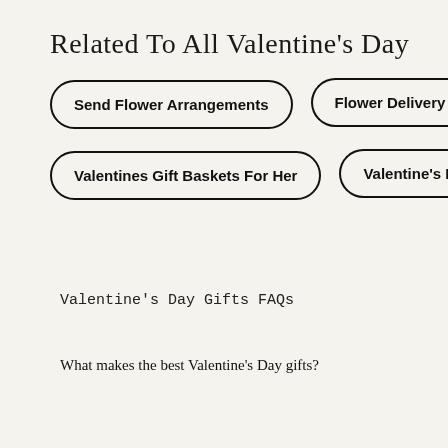Related To All Valentine's Day
Send Flower Arrangements
Flower Delivery
Valentines Gift Baskets For Her
Valentine's Baske…
Valentine's Day Gifts FAQs
What makes the best Valentine's Day gifts?